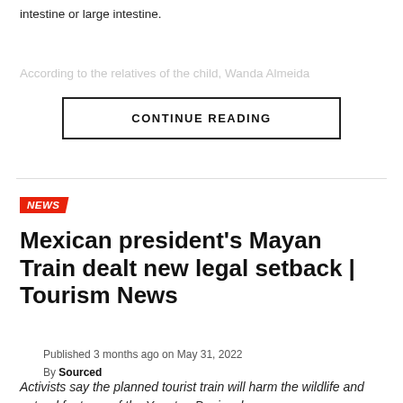intestine or large intestine.
According to the relatives of the child, Wanda Almeida
CONTINUE READING
NEWS
Mexican president's Mayan Train dealt new legal setback | Tourism News
Published 3 months ago on May 31, 2022
By Sourced
Activists say the planned tourist train will harm the wildlife and natural features of the Yucatan Peninsula